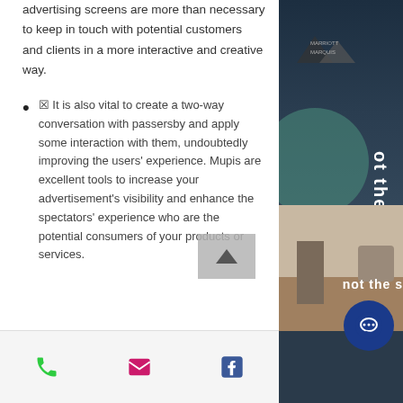advertising screens are more than necessary to keep in touch with potential customers and clients in a more interactive and creative way.
It is also vital to create a two-way conversation with passersby and apply some interaction with them, undoubtedly improving the users' experience. Mupis are excellent tools to increase your advertisement's visibility and enhance the spectators' experience who are the potential consumers of your products or services.
[Figure (photo): Side panel with dark background showing partial image of a display/advertisement screen with text 'not the s' visible, and a person/scene at the bottom]
Phone | Email | Facebook icons